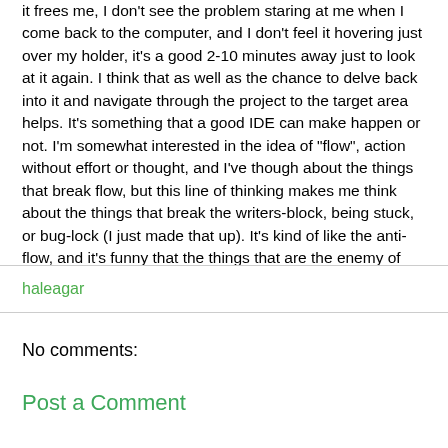it frees me, I don't see the problem staring at me when I come back to the computer, and I don't feel it hovering just over my holder, it's a good 2-10 minutes away just to look at it again. I think that as well as the chance to delve back into it and navigate through the project to the target area helps. It's something that a good IDE can make happen or not. I'm somewhat interested in the idea of "flow", action without effort or thought, and I've though about the things that break flow, but this line of thinking makes me think about the things that break the writers-block, being stuck, or bug-lock (I just made that up). It's kind of like the anti-flow, and it's funny that the things that are the enemy of "flow" can also be the enemy of being "stuck", and thus used positively.
haleagar
No comments:
Post a Comment